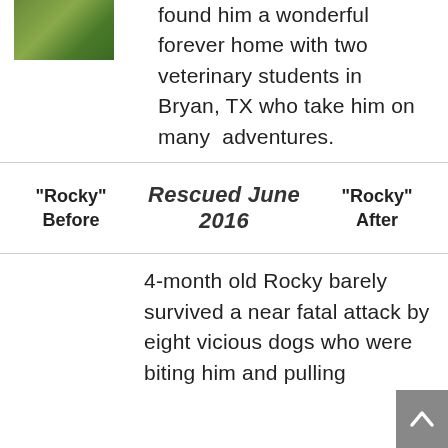[Figure (photo): Small photo of a dog or animal in a grassy outdoor setting, partially cropped at top]
found him a wonderful forever home with two veterinary students in Bryan, TX who take him on many adventures.
| “Rocky” Before | Rescued June 2016 | “Rocky” After |
| --- | --- | --- |
4-month old Rocky barely survived a near fatal attack by eight vicious dogs who were biting him and pulling